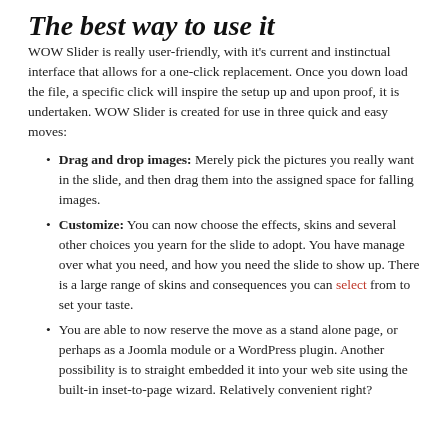The best way to use it
WOW Slider is really user-friendly, with it's current and instinctual interface that allows for a one-click replacement. Once you down load the file, a specific click will inspire the setup up and upon proof, it is undertaken. WOW Slider is created for use in three quick and easy moves:
Drag and drop images: Merely pick the pictures you really want in the slide, and then drag them into the assigned space for falling images.
Customize: You can now choose the effects, skins and several other choices you yearn for the slide to adopt. You have manage over what you need, and how you need the slide to show up. There is a large range of skins and consequences you can select from to set your taste.
You are able to now reserve the move as a stand alone page, or perhaps as a Joomla module or a WordPress plugin. Another possibility is to straight embedded it into your web site using the built-in inset-to-page wizard. Relatively convenient right?